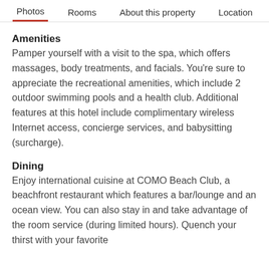Photos   Rooms   About this property   Location
Amenities
Pamper yourself with a visit to the spa, which offers massages, body treatments, and facials. You're sure to appreciate the recreational amenities, which include 2 outdoor swimming pools and a health club. Additional features at this hotel include complimentary wireless Internet access, concierge services, and babysitting (surcharge).
Dining
Enjoy international cuisine at COMO Beach Club, a beachfront restaurant which features a bar/lounge and an ocean view. You can also stay in and take advantage of the room service (during limited hours). Quench your thirst with your favorite